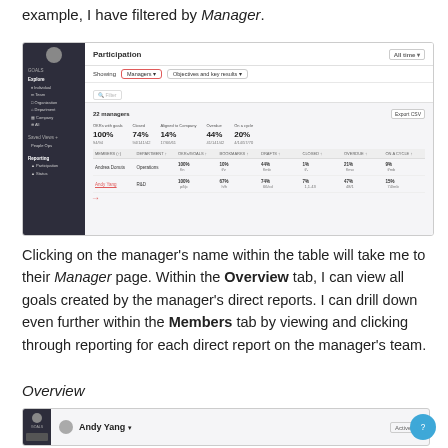example, I have filtered by Manager.
[Figure (screenshot): Screenshot of a Participation reporting page showing filters set to 'Managers' and 'Objectives and key results', with a table of 22 managers including rows for Andrea Donuts and Andy Yang (highlighted with red arrow).]
Clicking on the manager's name within the table will take me to their Manager page. Within the Overview tab, I can view all goals created by the manager's direct reports. I can drill down even further within the Members tab by viewing and clicking through reporting for each direct report on the manager's team.
Overview
[Figure (screenshot): Screenshot showing the Andy Yang manager page header with Goals section.]